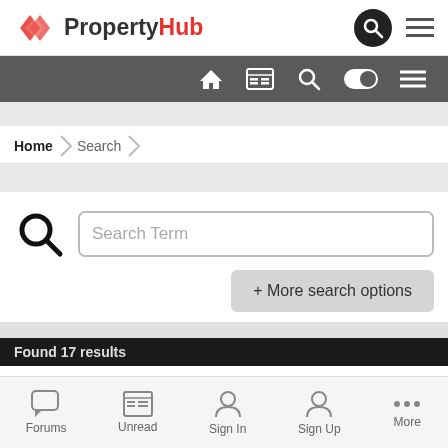PropertyHub - navigation header with logo, search icon, and hamburger menu
[Figure (screenshot): PropertyHub logo with red diamond icon and text logo; icons for search (circle) and hamburger menu]
[Figure (screenshot): Dark toolbar with home, news/grid, search, toggle, and menu icons]
Home > Search (breadcrumb navigation)
[Figure (screenshot): Search area with large magnifying glass icon and text input field labeled 'Search Term', plus '+ More search options' button]
+ More search options
Forums | Unread | Sign In | Sign Up | More